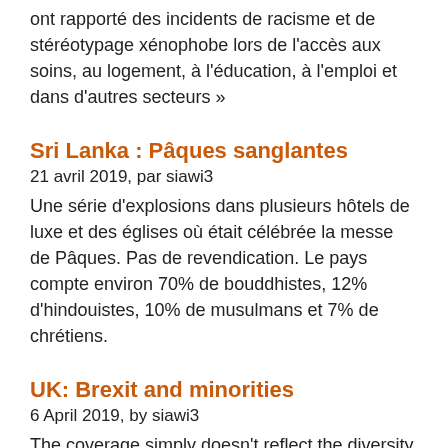ont rapporté des incidents de racisme et de stéréotypage xénophobe lors de l'accès aux soins, au logement, à l'éducation, à l'emploi et dans d'autres secteurs »
Sri Lanka : Pâques sanglantes
21 avril 2019, par siawi3
Une série d'explosions dans plusieurs hôtels de luxe et des églises où était célébrée la messe de Pâques. Pas de revendication. Le pays compte environ 70% de bouddhistes, 12% d'hindouistes, 10% de musulmans et 7% de chrétiens.
UK: Brexit and minorities
6 April 2019, by siawi3
The coverage simply doesn't reflect the diversity of the Brexit vote. Not all Leave voters are white, left-behind people who live in de-industrialised 'hollowed-out' communities. Nor are they all dispossessed 'nativists' longing for a bygone era of British territorialism and imperial might. Data suggests that euroscepticism in Britain's South Asian population…